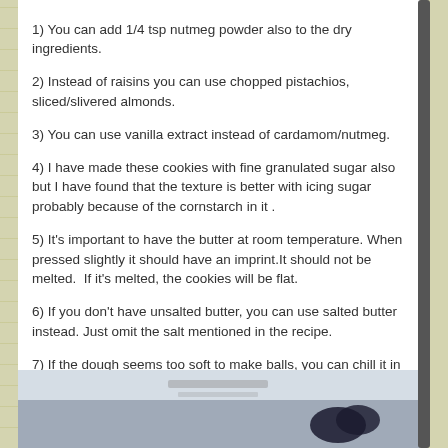1) You can add 1/4 tsp nutmeg powder also to the dry ingredients.
2) Instead of raisins you can use chopped pistachios, sliced/slivered almonds.
3) You can use vanilla extract instead of cardamom/nutmeg.
4) I have made these cookies with fine granulated sugar also but I have found that the texture is better with icing sugar probably because of the cornstarch in it .
5) It's important to have the butter at room temperature. When pressed slightly it should have an imprint.It should not be melted.  If it's melted, the cookies will be flat.
6) If you don't have unsalted butter, you can use salted butter instead. Just omit the salt mentioned in the recipe.
7) If the dough seems too soft to make balls, you can chill it in the refrigerator for few minutes until it's suitable for making balls.
[Figure (photo): Photo of cookies or baked goods on a surface, partially visible at bottom of page]